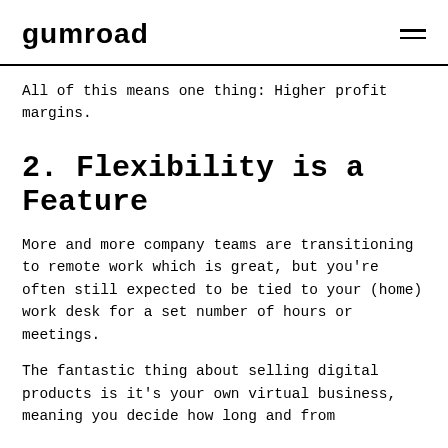gumroad
All of this means one thing: Higher profit margins.
2. Flexibility is a Feature
More and more company teams are transitioning to remote work which is great, but you're often still expected to be tied to your (home) work desk for a set number of hours or meetings.
The fantastic thing about selling digital products is it's your own virtual business, meaning you decide how long and from